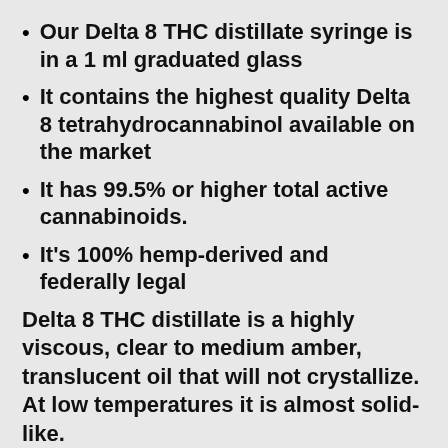Our Delta 8 THC distillate syringe is in a 1 ml graduated glass
It contains the highest quality Delta 8 tetrahydrocannabinol available on the market
It has 99.5% or higher total active cannabinoids.
It's 100% hemp-derived and  federally legal
Delta 8 THC distillate is a highly viscous, clear to medium amber, translucent oil that will not crystallize. At low temperatures it is almost solid-like.
Because of this, you cannot push the oil without first heating. Otherwise, you may end up breaking the syringe. See the directions